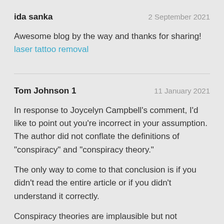ida sanka	2 September 2021
Awesome blog by the way and thanks for sharing!
laser tattoo removal
Tom Johnson 1	11 January 2021
In response to Joycelyn Campbell's comment, I'd like to point out you're incorrect in your assumption. The author did not conflate the definitions of "conspiracy" and "conspiracy theory."
The only way to come to that conclusion is if you didn't read the entire article or if you didn't understand it correctly.
Conspiracy theories are implausible but not